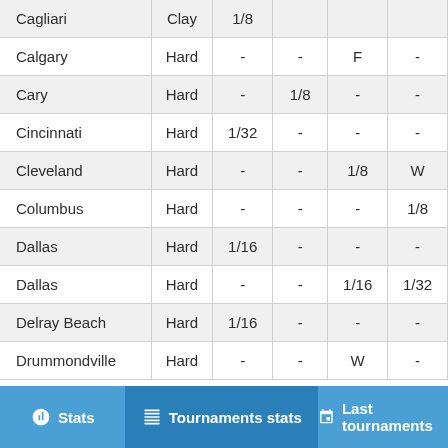| City | Surface | Col1 | Col2 | Col3 | Col4 |
| --- | --- | --- | --- | --- | --- |
| Cagliari | Clay | 1/8 |  |  |  |
| Calgary | Hard | - | - | F | - |
| Cary | Hard | - | 1/8 | - | - |
| Cincinnati | Hard | 1/32 | - | - | - |
| Cleveland | Hard | - | - | 1/8 | W |
| Columbus | Hard | - | - | - | 1/8 |
| Dallas | Hard | 1/16 | - | - | - |
| Dallas | Hard | - | - | 1/16 | 1/32 |
| Delray Beach | Hard | 1/16 | - | - | - |
| Drummondville | Hard | - | - | W | - |
Stats | Tournaments stats | Last tournaments